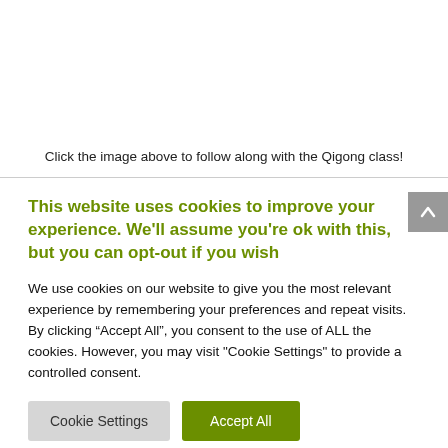Click the image above to follow along with the Qigong class!
This website uses cookies to improve your experience. We'll assume you're ok with this, but you can opt-out if you wish
We use cookies on our website to give you the most relevant experience by remembering your preferences and repeat visits. By clicking “Accept All”, you consent to the use of ALL the cookies. However, you may visit "Cookie Settings" to provide a controlled consent.